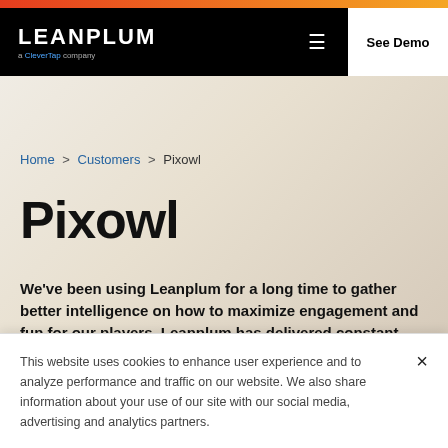[Figure (screenshot): Leanplum website header with black navigation bar featuring Leanplum logo, hamburger menu, and See Demo button, with gradient top bar]
Home > Customers > Pixowl
Pixowl
We've been using Leanplum for a long time to gather better intelligence on how to maximize engagement and fun for our players. Leanplum has delivered constant
This website uses cookies to enhance user experience and to analyze performance and traffic on our website. We also share information about your use of our site with our social media, advertising and analytics partners.